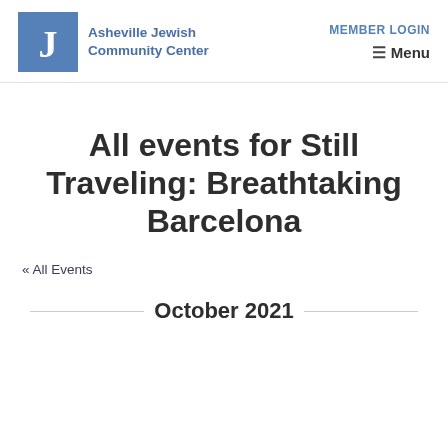Asheville Jewish Community Center | MEMBER LOGIN | Menu
All events for Still Traveling: Breathtaking Barcelona
« All Events
October 2021